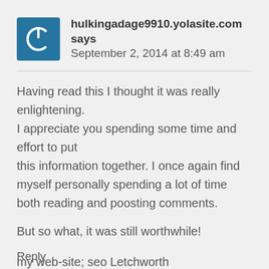[Figure (logo): Blue square with white power button icon (avatar)]
hulkingadage9910.yolasite.com says
September 2, 2014 at 8:49 am
Having read this I thought it was really enlightening.
I appreciate you spending some time and effort to put
this information together. I once again find myself personally spending a lot of time both reading and poosting comments.
But so what, it was still worthwhile!
my web-site; seo Letchworth
(hulkingadage9910.yolasite.com)
Reply